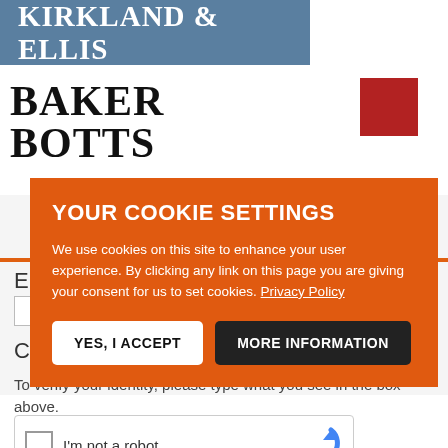[Figure (logo): Kirkland & Ellis logo — white text on steel-blue rectangle]
[Figure (logo): Baker Botts logo — bold serif black text with red square accent]
YOUR COOKIE SETTINGS
We use cookies on this site to enhance your user experience. By clicking any link on this page you are giving your consent for us to set cookies. Privacy Policy
YES, I ACCEPT
MORE INFORMATION
To verify your identity, please type what you see in the box above.